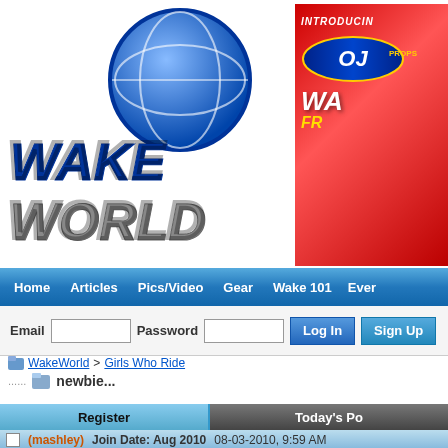[Figure (logo): WakeWorld logo with globe graphic and stylized italic text]
[Figure (illustration): OJ Props advertisement banner - red background, introducing WA... FR... text with OJ Props logo]
Home   Articles   Pics/Video   Gear   Wake 101   Ever
Email  [input]  Password  [input]  Log In  Sign Up
WakeWorld > Girls Who Ride
newbie...
Register   Today's Po
(mashley)  Join Date: Aug 2010   08-03-2010, 9:59 AM
well I tried wakeboarding for the first time this past saturday using m and fell forwards...my husband wants me to be able to stand up be help any but we just put a tower on our boat, we were just pulling p